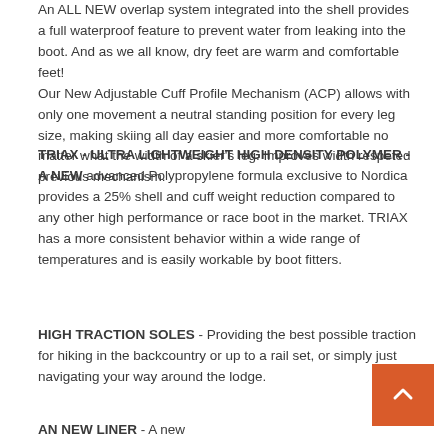An ALL NEW overlap system integrated into the shell provides a full waterproof feature to prevent water from leaking into the boot. And as we all know, dry feet are warm and comfortable feet! Our New Adjustable Cuff Profile Mechanism (ACP) allows with only one movement a neutral standing position for every leg size, making skiing all day easier and more comfortable no matter what the width of a skier's leg. Improves width respeted previous mechanism.
TRIAX - ULTRA LIGHTWEIGHT HIGH DENSITY POLYMER - A NEW advanced Polypropylene formula exclusive to Nordica provides a 25% shell and cuff weight reduction compared to any other high performance or race boot in the market. TRIAX has a more consistent behavior within a wide range of temperatures and is easily workable by boot fitters.
HIGH TRACTION SOLES - Providing the best possible traction for hiking in the backcountry or up to a rail set, or simply just navigating your way around the lodge.
AN NEW LINER - A new...